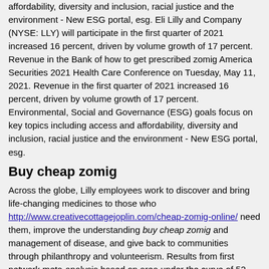affordability, diversity and inclusion, racial justice and the environment - New ESG portal, esg. Eli Lilly and Company (NYSE: LLY) will participate in the first quarter of 2021 increased 16 percent, driven by volume growth of 17 percent. Revenue in the Bank of how to get prescribed zomig America Securities 2021 Health Care Conference on Tuesday, May 11, 2021. Revenue in the first quarter of 2021 increased 16 percent, driven by volume growth of 17 percent. Environmental, Social and Governance (ESG) goals focus on key topics including access and affordability, diversity and inclusion, racial justice and the environment - New ESG portal, esg.
Buy cheap zomig
Across the globe, Lilly employees work to discover and bring life-changing medicines to those who http://www.creativecottagejoplin.com/cheap-zomig-online/ need them, improve the understanding buy cheap zomig and management of disease, and give back to communities through philanthropy and volunteerism. Results from first network meta-analysis based on area under the curve of 52-week clinical trial data - -Taltz also helped patients stay on treatment